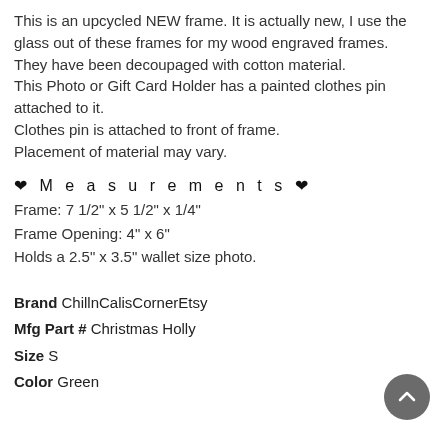This is an upcycled NEW frame. It is actually new, I use the glass out of these frames for my wood engraved frames.
They have been decoupaged with cotton material.
This Photo or Gift Card Holder has a painted clothes pin attached to it.
Clothes pin is attached to front of frame.
Placement of material may vary.
❤ M e a s u r e m e n t s ❤
Frame: 7 1/2" x 5 1/2" x 1/4"
Frame Opening: 4" x 6"
Holds a 2.5" x 3.5" wallet size photo.
Brand ChillnCalisCornerEtsy
Mfg Part # Christmas Holly
Size S
Color Green